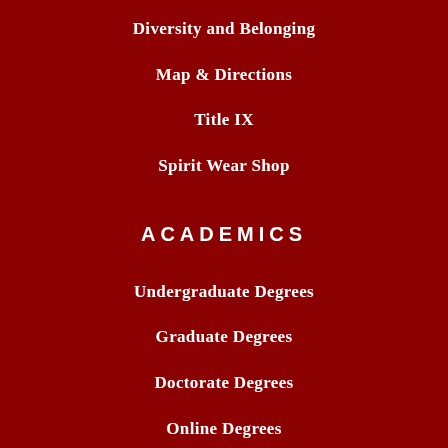Diversity and Belonging
Map & Directions
Title IX
Spirit Wear Shop
ACADEMICS
Undergraduate Degrees
Graduate Degrees
Doctorate Degrees
Online Degrees